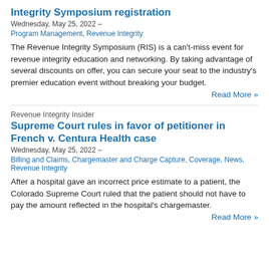Integrity Symposium registration
Wednesday, May 25, 2022  –
Program Management, Revenue Integrity
The Revenue Integrity Symposium (RIS) is a can't-miss event for revenue integrity education and networking. By taking advantage of several discounts on offer, you can secure your seat to the industry's premier education event without breaking your budget.
Read More »
Revenue Integrity Insider
Supreme Court rules in favor of petitioner in French v. Centura Health case
Wednesday, May 25, 2022  –
Billing and Claims, Chargemaster and Charge Capture, Coverage, News, Revenue Integrity
After a hospital gave an incorrect price estimate to a patient, the Colorado Supreme Court ruled that the patient should not have to pay the amount reflected in the hospital's chargemaster.
Read More »